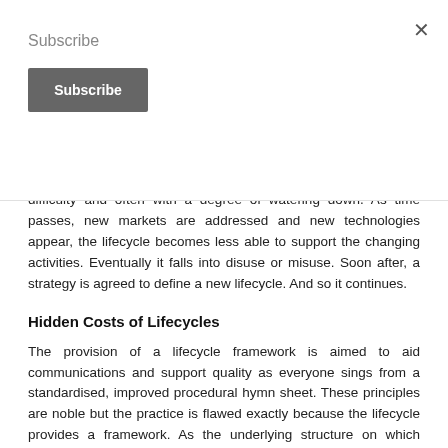Subscribe
Subscribe (button)
difficulty and often with a degree of watering down. As time passes, new markets are addressed and new technologies appear, the lifecycle becomes less able to support the changing activities. Eventually it falls into disuse or misuse. Soon after, a strategy is agreed to define a new lifecycle. And so it continues.
Hidden Costs of Lifecycles
The provision of a lifecycle framework is aimed to aid communications and support quality as everyone sings from a standardised, improved procedural hymn sheet. These principles are noble but the practice is flawed exactly because the lifecycle provides a framework. As the underlying structure on which everything else is built, it must be slipped under existing developments and product releases with the